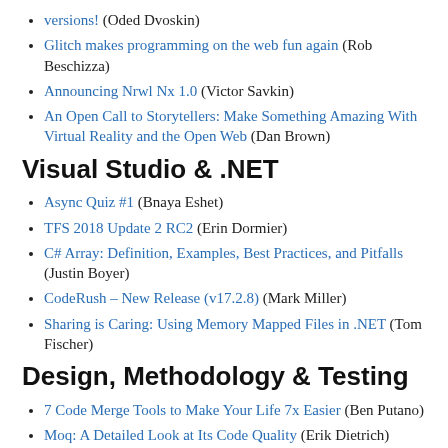versions! (Oded Dvoskin)
Glitch makes programming on the web fun again (Rob Beschizza)
Announcing Nrwl Nx 1.0 (Victor Savkin)
An Open Call to Storytellers: Make Something Amazing With Virtual Reality and the Open Web (Dan Brown)
Visual Studio & .NET
Async Quiz #1 (Bnaya Eshet)
TFS 2018 Update 2 RC2 (Erin Dormier)
C# Array: Definition, Examples, Best Practices, and Pitfalls (Justin Boyer)
CodeRush – New Release (v17.2.8) (Mark Miller)
Sharing is Caring: Using Memory Mapped Files in .NET (Tom Fischer)
Design, Methodology & Testing
7 Code Merge Tools to Make Your Life 7x Easier (Ben Putano)
Moq: A Detailed Look at Its Code Quality (Erik Dietrich)
An Overview of Automated Testing for Developers (John Bristowe)
Don't be a dick... (Swizec Teller)